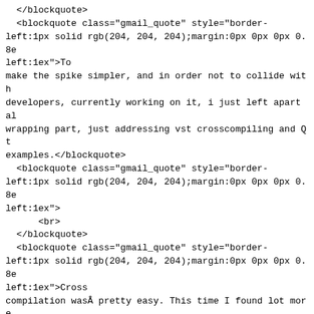</blockquote>
  <blockquote class="gmail_quote" style="border-left:1px solid rgb(204, 204, 204);margin:0px 0px 0px 0.8e left:1ex">To
make the spike simpler, and in order not to collide with developers, currently working on it, i just left apart al wrapping part, just addressing vst crosscompiling and Qt examples.</blockquote>
  <blockquote class="gmail_quote" style="border-left:1px solid rgb(204, 204, 204);margin:0px 0px 0px 0.8e left:1ex">
      <br>
  </blockquote>
  <blockquote class="gmail_quote" style="border-left:1px solid rgb(204, 204, 204);margin:0px 0px 0px 0.8e left:1ex">Cross
compilation wasÂ pretty easy. This time I found lot more onÂ mingw and even scons. Just by adding theÂ crossmingw are already using for the apps and i managed to get Linu cross-compiled plugins running on Wine.Â </blockquote>
  <div><br>
  <font class="Apple-style-span" face="monospace">
<span class="Apple-style-span" style="white-space: pre;"><br></span></font>
  </div>
  </div></div></blockquote><br>
</div>

</div><br></div>